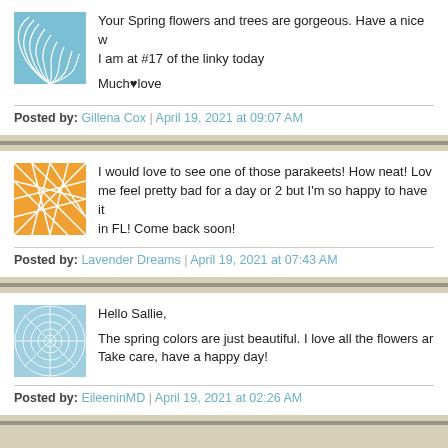Your Spring flowers and trees are gorgeous. Have a nice w... I am at #17 of the linky today

Much♥love
Posted by: Gillena Cox | April 19, 2021 at 09:07 AM
I would love to see one of those parakeets! How neat! Lov... me feel pretty bad for a day or 2 but I'm so happy to have it... in FL! Come back soon!
Posted by: Lavender Dreams | April 19, 2021 at 07:43 AM
Hello Sallie,

The spring colors are just beautiful. I love all the flowers ar... Take care, have a happy day!
Posted by: EileeninMD | April 19, 2021 at 02:26 AM